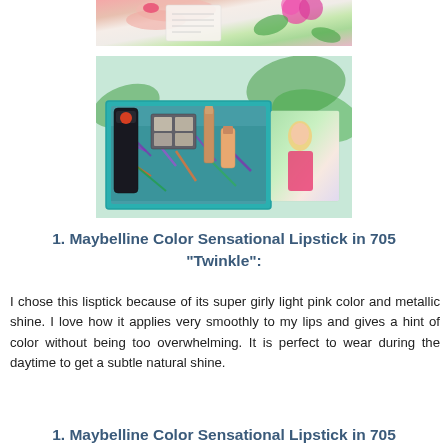[Figure (photo): Top portion of a photo showing a hand with pink nail polish holding a card/note, with pink flowers and green leaves in the background.]
[Figure (photo): A teal/turquoise gift box filled with colorful shredded paper and various beauty products including a dark bottle, eyeshadow palette, lipstick, nail polish, and other items. Pink flowers and green leaves surround the box, and a promotional card with a blonde woman is visible on the right.]
1. Maybelline Color Sensational Lipstick in 705 "Twinkle":
I chose this lisptick because of its super girly light pink color and metallic shine. I love how it applies very smoothly to my lips and gives a hint of color without being too overwhelming. It is perfect to wear during the daytime to get a subtle natural shine.
1. Maybelline Color Sensational Lipstick in 705